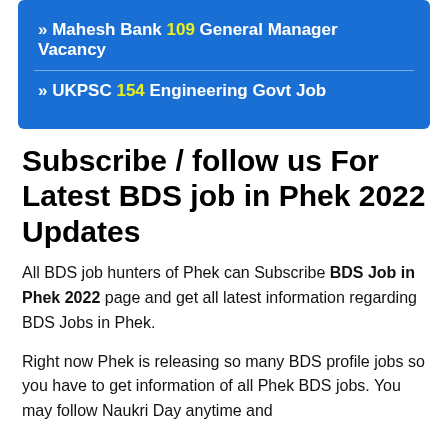» Mahesh Bank 109 General Manager Vacancy
» UKPSC 154 Engineering Govt Job
Subscribe / follow us For Latest BDS job in Phek 2022 Updates
All BDS job hunters of Phek can Subscribe BDS Job in Phek 2022 page and get all latest information regarding BDS Jobs in Phek.
Right now Phek is releasing so many BDS profile jobs so you have to get information of all Phek BDS jobs. You may follow Naukri Day anytime and